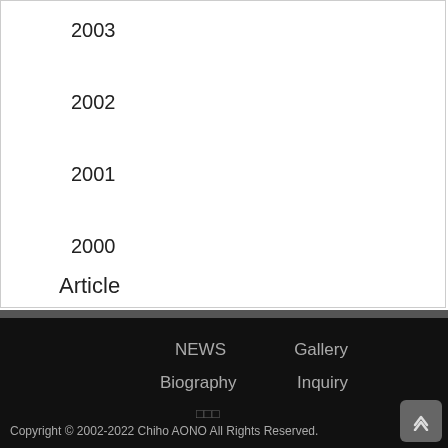2003
2002
2001
2000
Article
NEWS   Gallery   Biography   Inquiry   □□□   Copyright © 2002-2022 Chiho AONO All Rights Reserved.